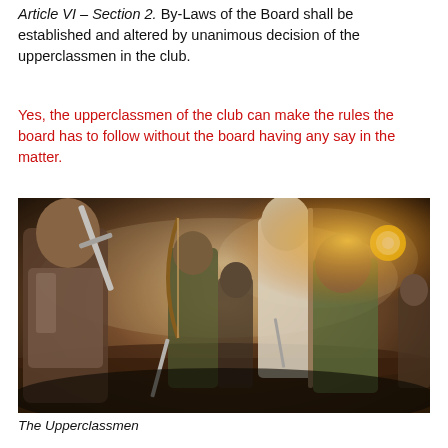Article VI – Section 2. By-Laws of the Board shall be established and altered by unanimous decision of the upperclassmen in the club.
Yes, the upperclassmen of the club can make the rules the board has to follow without the board having any say in the matter.
[Figure (photo): A fantasy battle scene showing armored warriors including a knight with a sword, an archer, a white-robed wizard, a hobbit-like figure holding a glowing object, and other characters in a dramatic, smoky composition resembling Lord of the Rings promotional art.]
The Upperclassmen